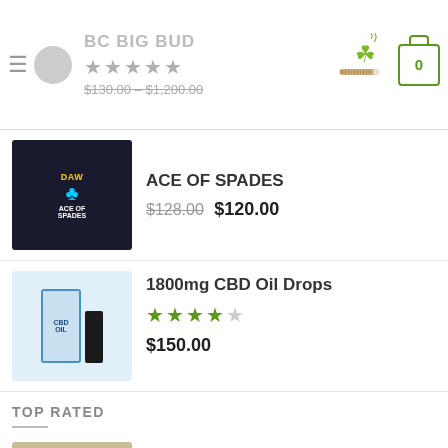BC BIG BUD — navigation header with logo, stars, price range $130.00 – $1,200.00, cannabis icon, cart icon showing 0
ACE OF SPADES
$128.00  $120.00
1800mg CBD Oil Drops
★★★★☆
$150.00
TOP RATED
Bubba Kush
★★★★★
$120.00 – $1,000.00
Durban Poison